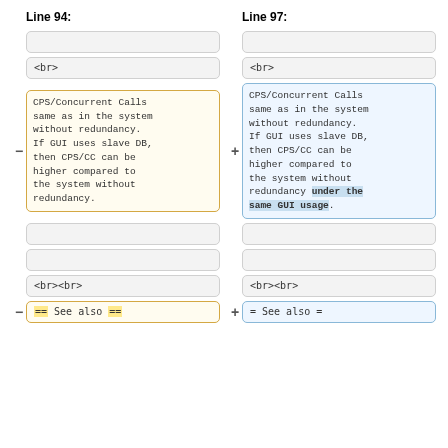Line 94:
Line 97:
(empty cell)
(empty cell)
<br>
<br>
CPS/Concurrent Calls same as in the system without redundancy. If GUI uses slave DB, then CPS/CC can be higher compared to the system without redundancy.
CPS/Concurrent Calls same as in the system without redundancy. If GUI uses slave DB, then CPS/CC can be higher compared to the system without redundancy under the same GUI usage.
(empty cell)
(empty cell)
(empty cell)
(empty cell)
<br><br>
<br><br>
== See also ==
= See also =